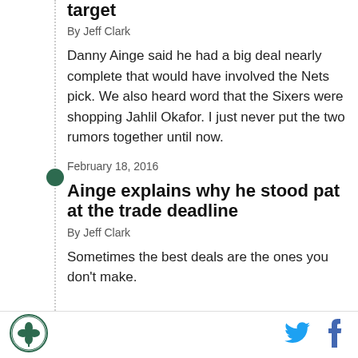target
By Jeff Clark
Danny Ainge said he had a big deal nearly complete that would have involved the Nets pick. We also heard word that the Sixers were shopping Jahlil Okafor. I just never put the two rumors together until now.
February 18, 2016
Ainge explains why he stood pat at the trade deadline
By Jeff Clark
Sometimes the best deals are the ones you don't make.